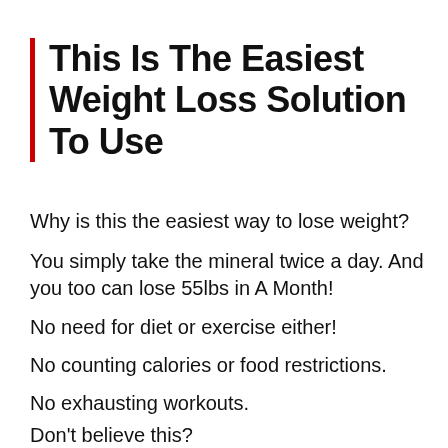This Is The Easiest Weight Loss Solution To Use
Why is this the easiest way to lose weight?
You simply take the mineral twice a day. And you too can lose 55lbs in A Month!
No need for diet or exercise either!
No counting calories or food restrictions.
No exhausting workouts.
Don't believe this?